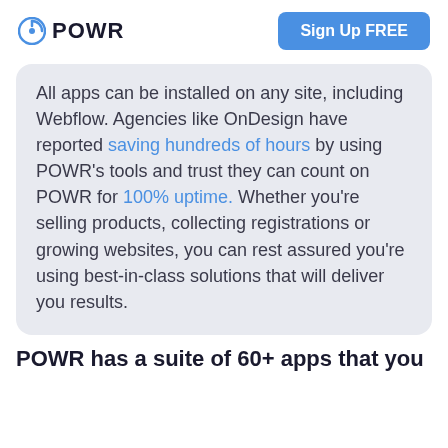POWR  Sign Up FREE
All apps can be installed on any site, including Webflow. Agencies like OnDesign have reported saving hundreds of hours by using POWR's tools and trust they can count on POWR for 100% uptime. Whether you're selling products, collecting registrations or growing websites, you can rest assured you're using best-in-class solutions that will deliver you results.
POWR has a suite of 60+ apps that you